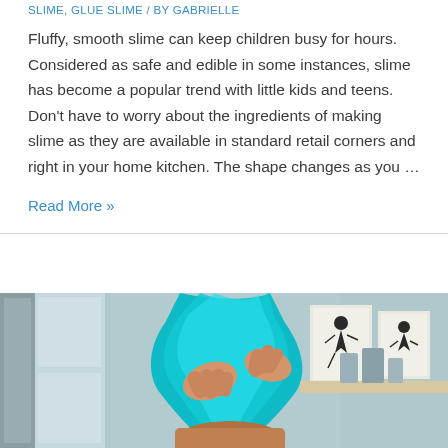SLIME, GLUE SLIME / by Gabrielle
Fluffy, smooth slime can keep children busy for hours. Considered as safe and edible in some instances, slime has become a popular trend with little kids and teens. Don't have to worry about the ingredients of making slime as they are available in standard retail corners and right in your home kitchen. The shape changes as you …
Read More »
[Figure (photo): A child stretching bright teal/turquoise slime upward with both hands, with framed artwork visible on the wall in the background. The room has light blue-gray walls.]